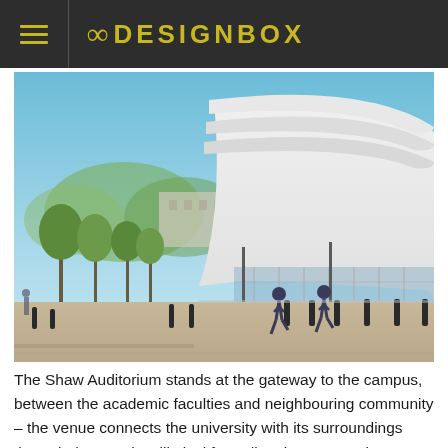8 DESIGNBOX
[Figure (photo): Exterior photograph of the Shaw Auditorium building — a large white elliptical modern structure with curved cantilevered overhangs, floor-to-ceiling glazing at ground level, set beside a wide open paved plaza with bollards, trees, and two people jogging in the foreground, under a clear blue sky.]
The Shaw Auditorium stands at the gateway to the campus, between the academic faculties and neighbouring community – the venue connects the university with its surroundings through the arts, its elliptical form directing a natural pedestrian flow. Visitors are shaded and sheltered from the rain by the building's deep cantilevers, which